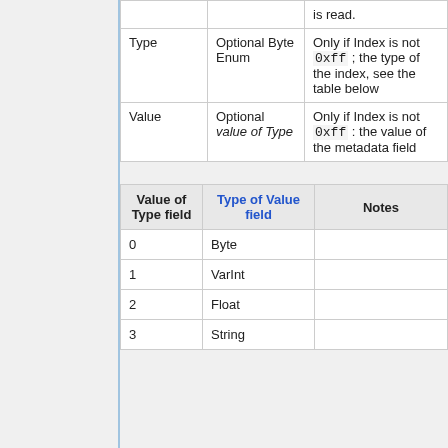|  |  |  |
| --- | --- | --- |
|  |  | is read. |
| Type | Optional Byte Enum | Only if Index is not 0xff ; the type of the index, see the table below |
| Value | Optional value of Type | Only if Index is not 0xff : the value of the metadata field |
| Value of Type field | Type of Value field | Notes |
| --- | --- | --- |
| 0 | Byte |  |
| 1 | VarInt |  |
| 2 | Float |  |
| 3 | String |  |